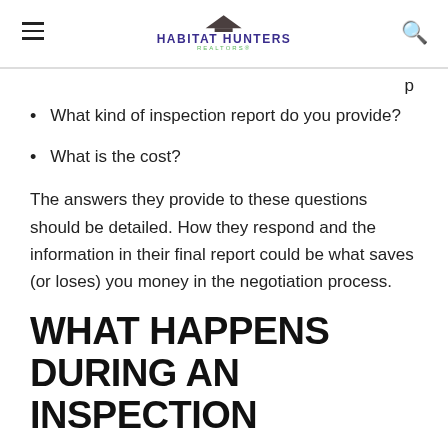HABITAT HUNTERS REALTORS
What kind of inspection report do you provide?
What is the cost?
The answers they provide to these questions should be detailed. How they respond and the information in their final report could be what saves (or loses) you money in the negotiation process.
WHAT HAPPENS DURING AN INSPECTION
When it comes time for the actual inspection, this